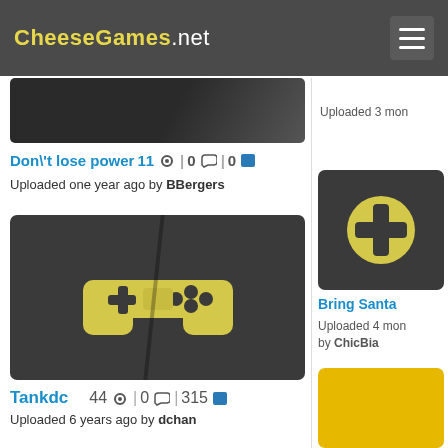CheeseGames.net
[Figure (screenshot): Partial game thumbnail at top of left column, dark background]
Don\'t lose power11 | 0 | 0
Uploaded one year ago by BBergers
[Figure (illustration): Game controller icon on dark background - Tankdc game thumbnail]
Tankdc   44 | 0 | 315
Uploaded 6 years ago by dchan
[Figure (screenshot): Partial game thumbnail at bottom left]
Uploaded 3 mon
[Figure (illustration): Game controller icon on dark background - right column thumbnail]
Bring Santa
Uploaded 4 mon by ChicBia
[Figure (screenshot): Yellow/gold partial thumbnail at bottom right]